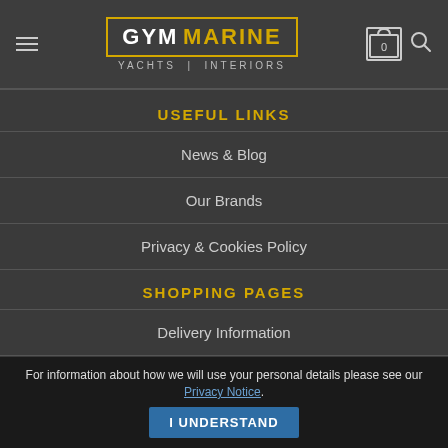GYM MARINE | YACHTS | INTERIORS
USEFUL LINKS
News & Blog
Our Brands
Privacy & Cookies Policy
SHOPPING PAGES
Delivery Information
Payment Information
Returns Information
[Figure (logo): SBID logo partially visible at the bottom]
For information about how we will use your personal details please see our Privacy Notice. I UNDERSTAND